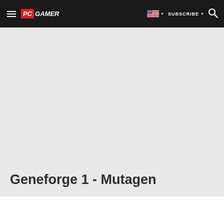PC GAMER — SUBSCRIBE — Search
[Figure (screenshot): Large light gray hero image placeholder area for Geneforge 1 - Mutagen article on PC Gamer website]
Geneforge 1 - Mutagen